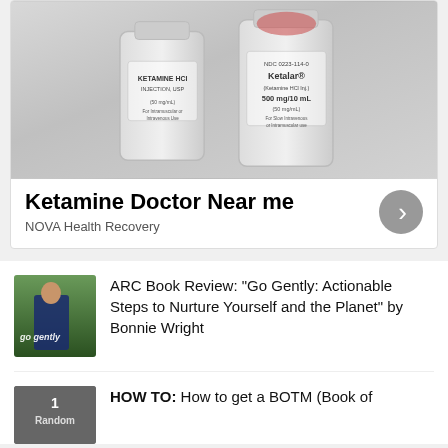[Figure (photo): Advertisement showing Ketamine HCl injection USP and Ketalar medication vials/bottles on a light background]
Ketamine Doctor Near me
NOVA Health Recovery
[Figure (photo): Book cover thumbnail for 'Go Gently' by Bonnie Wright, showing a woman outdoors with green foliage, with cursive 'go gently' text overlay]
ARC Book Review: “Go Gently: Actionable Steps to Nurture Yourself and the Planet” by Bonnie Wright
[Figure (photo): Partial thumbnail showing text '1 Randon' or similar, partially cropped]
HOW TO: How to get a BOTM (Book of